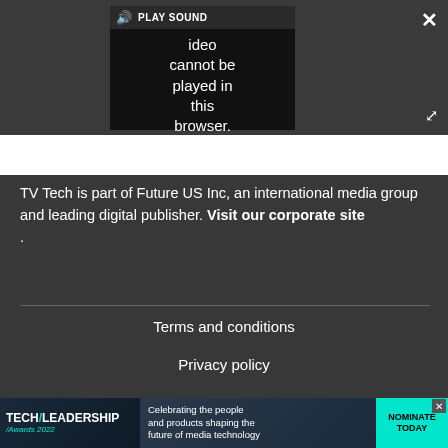[Figure (screenshot): Video player UI showing error message: 'Video cannot be played in this browser. (Error Cod' with PLAY SOUND button, close X button, and expand arrows icon on dark background]
TV Tech is part of Future US Inc, an international media group and leading digital publisher. Visit our corporate site .
Terms and conditions
Privacy policy
[Figure (infographic): Tech Leadership Awards 2022 advertisement banner: 'Celebrating the people and products shaping the future of media technology' with NOMINATE TODAY button in teal]